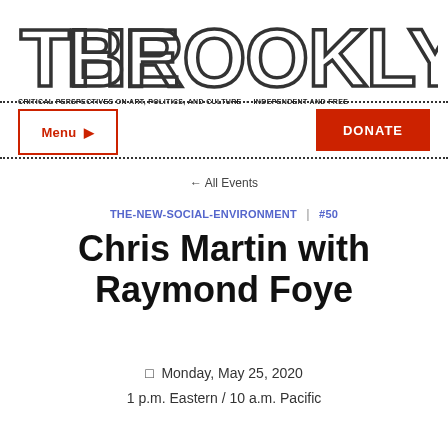[Figure (logo): The Brooklyn Rail logo — large outlined block letters spelling THE BROOKLYN RAIL]
CRITICAL PERSPECTIVES ON ART, POLITICS, AND CULTURE  •  INDEPENDENT AND FREE
Menu ☰
DONATE
← All Events
THE-NEW-SOCIAL-ENVIRONMENT  |  #50
Chris Martin with Raymond Foye
☐  Monday, May 25, 2020
1 p.m. Eastern / 10 a.m. Pacific